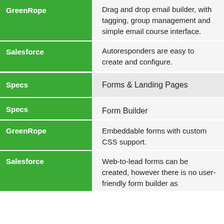|  |  |
| --- | --- |
| GreenRope | Drag and drop email builder, with tagging, group management and simple email course interface. |
| Salesforce | Autoresponders are easy to create and configure. |
| Specs | Forms & Landing Pages |
| Specs | Form Builder |
| GreenRope | Embeddable forms with custom CSS support. |
| Salesforce | Web-to-lead forms can be created, however there is no user-friendly form builder as... |